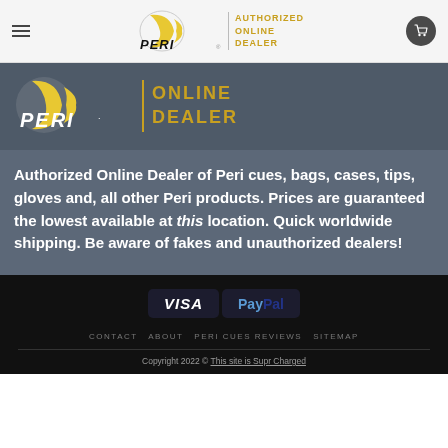PERI — AUTHORIZED ONLINE DEALER (header navigation bar)
[Figure (logo): PERI Authorized Online Dealer logo — PERI wordmark with swoosh icon and vertical gold bar, text ONLINE DEALER in gold]
Authorized Online Dealer of Peri cues, bags, cases, tips, gloves and, all other Peri products. Prices are guaranteed the lowest available at this location. Quick worldwide shipping. Be aware of fakes and unauthorized dealers!
[Figure (other): Payment method icons: VISA and PayPal]
CONTACT   ABOUT   PERI CUES REVIEWS   SITEMAP
Copyright 2022 © This site is Supr Charged